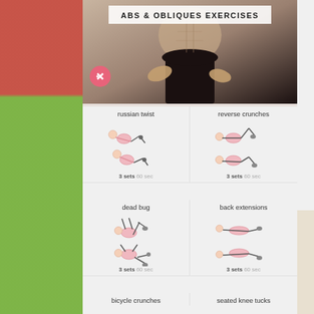ABS & OBLIQUES EXERCISES
[Figure (photo): Woman's torso showing abs, with hands on hips wearing black pants]
[Figure (illustration): Russian twist exercise illustration showing two positions]
russian twist
3 sets 60 sec
[Figure (illustration): Reverse crunches exercise illustration showing two positions]
reverse crunches
3 sets 60 sec
[Figure (illustration): Dead bug exercise illustration showing two positions]
dead bug
3 sets 60 sec
[Figure (illustration): Back extensions exercise illustration showing two positions]
back extensions
3 sets 60 sec
bicycle crunches
seated knee tucks